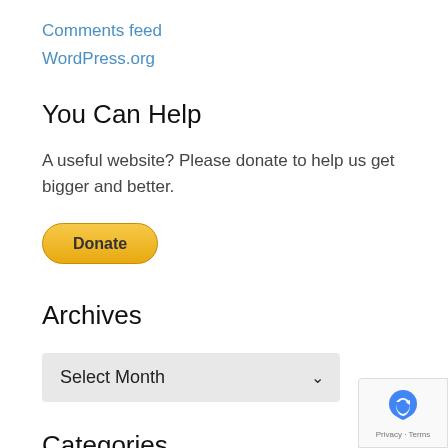Comments feed
WordPress.org
You Can Help
A useful website? Please donate to help us get bigger and better.
[Figure (other): PayPal Donate button — yellow rounded button with bold text 'Donate']
Archives
Select Month dropdown
Categories
[Figure (other): reCAPTCHA badge — showing reCAPTCHA logo and 'Privacy - Terms' text]